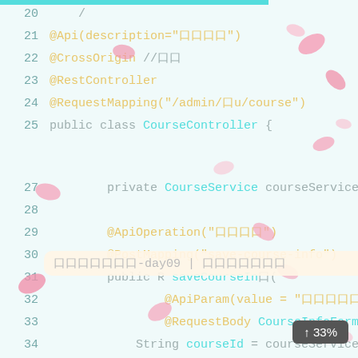[Figure (screenshot): Code editor screenshot showing Java Spring Boot controller code with line numbers 20-38, with an overlay tooltip showing file path info, and decorative sakura petals overlay. A scroll indicator shows 33% at bottom right.]